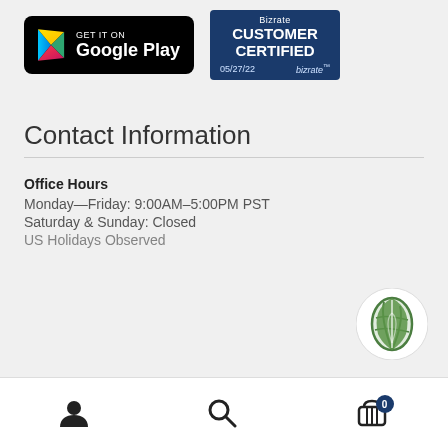[Figure (logo): Google Play store badge: black rounded rectangle with colorful Play triangle icon and text 'GET IT ON Google Play']
[Figure (logo): Bizrate Customer Certified badge: dark blue rectangle with text 'Bizrate CUSTOMER CERTIFIED 05/27/22 bizrate']
Contact Information
Office Hours
Monday—Friday: 9:00AM–5:00PM PST
Saturday & Sunday: Closed
US Holidays Observed
[Figure (logo): Green leaf icon in white circle]
User icon | Search icon | Cart icon (0)